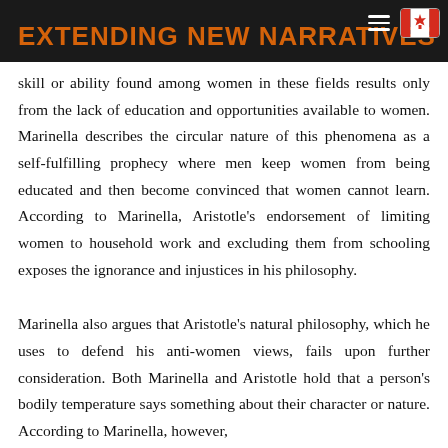EXTENDING NEW NARRATIVES
skill or ability found among women in these fields results only from the lack of education and opportunities available to women. Marinella describes the circular nature of this phenomena as a self-fulfilling prophecy where men keep women from being educated and then become convinced that women cannot learn. According to Marinella, Aristotle's endorsement of limiting women to household work and excluding them from schooling exposes the ignorance and injustices in his philosophy.
Marinella also argues that Aristotle's natural philosophy, which he uses to defend his anti-women views, fails upon further consideration. Both Marinella and Aristotle hold that a person's bodily temperature says something about their character or nature. According to Marinella, however,